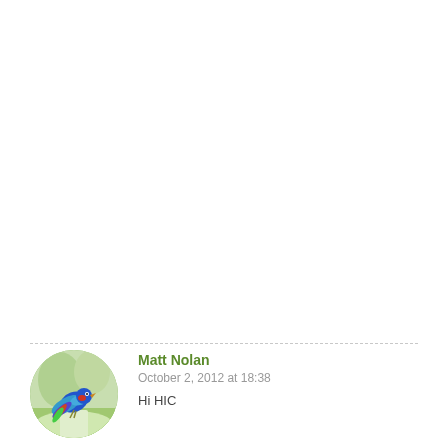[Figure (illustration): Circular avatar photo of Matt Nolan showing a colorful bird (parrot/peacock) perched outdoors with green background]
Matt Nolan
October 2, 2012 at 18:38
Hi HIC